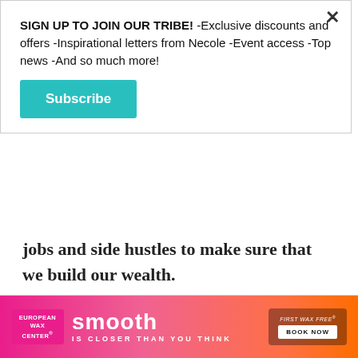SIGN UP TO JOIN OUR TRIBE! -Exclusive discounts and offers -Inspirational letters from Necole -Event access -Top news -And so much more!
Subscribe
jobs and side hustles to make sure that we build our wealth.
You can keep up with Walter and Brittany on Instagram or on their YouTube page! Also make sure to watch their adorable pregnancy reveal video below, just make sure you grab a box of tissues, first!
[Figure (infographic): Advertisement banner for European Wax Center with text 'smooth IS CLOSER THAN YOU THINK' and 'FIRST WAX FREE BOOK NOW' on a pink-to-orange gradient background.]